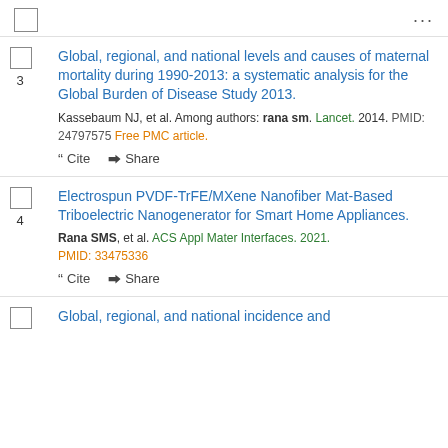3. Global, regional, and national levels and causes of maternal mortality during 1990-2013: a systematic analysis for the Global Burden of Disease Study 2013. Kassebaum NJ, et al. Among authors: rana sm. Lancet. 2014. PMID: 24797575 Free PMC article.
4. Electrospun PVDF-TrFE/MXene Nanofiber Mat-Based Triboelectric Nanogenerator for Smart Home Appliances. Rana SMS, et al. ACS Appl Mater Interfaces. 2021. PMID: 33475336
5. Global, regional, and national incidence and ...